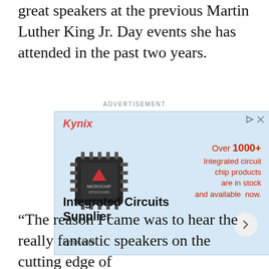great speakers at the previous Martin Luther King Jr. Day events she has attended in the past two years.
[Figure (other): Kynix advertisement for integrated circuits supplier. Shows a microchip image, text 'Over 1000+ Integrated circuit chip products are in stock and available now.', 'Integrated Circuits Supplier', 'kynix.com']
“The reason I came was to hear the really fantastic speakers on the cutting edge of